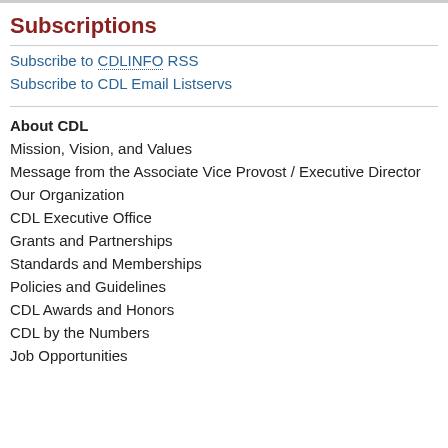Subscriptions
Subscribe to CDLINFO RSS
Subscribe to CDL Email Listservs
About CDL
Mission, Vision, and Values
Message from the Associate Vice Provost / Executive Director
Our Organization
CDL Executive Office
Grants and Partnerships
Standards and Memberships
Policies and Guidelines
CDL Awards and Honors
CDL by the Numbers
Job Opportunities